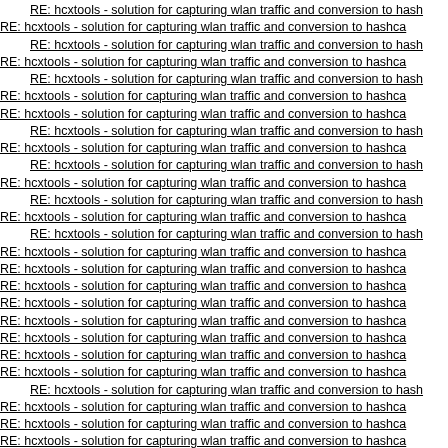RE: hcxtools - solution for capturing wlan traffic and conversion to hash
RE: hcxtools - solution for capturing wlan traffic and conversion to hashca
RE: hcxtools - solution for capturing wlan traffic and conversion to hash
RE: hcxtools - solution for capturing wlan traffic and conversion to hashca
RE: hcxtools - solution for capturing wlan traffic and conversion to hash
RE: hcxtools - solution for capturing wlan traffic and conversion to hashca
RE: hcxtools - solution for capturing wlan traffic and conversion to hashca
RE: hcxtools - solution for capturing wlan traffic and conversion to hash
RE: hcxtools - solution for capturing wlan traffic and conversion to hashca
RE: hcxtools - solution for capturing wlan traffic and conversion to hash
RE: hcxtools - solution for capturing wlan traffic and conversion to hashca
RE: hcxtools - solution for capturing wlan traffic and conversion to hash
RE: hcxtools - solution for capturing wlan traffic and conversion to hashca
RE: hcxtools - solution for capturing wlan traffic and conversion to hash
RE: hcxtools - solution for capturing wlan traffic and conversion to hashca
RE: hcxtools - solution for capturing wlan traffic and conversion to hashca
RE: hcxtools - solution for capturing wlan traffic and conversion to hashca
RE: hcxtools - solution for capturing wlan traffic and conversion to hashca
RE: hcxtools - solution for capturing wlan traffic and conversion to hashca
RE: hcxtools - solution for capturing wlan traffic and conversion to hashca
RE: hcxtools - solution for capturing wlan traffic and conversion to hashca
RE: hcxtools - solution for capturing wlan traffic and conversion to hashca
RE: hcxtools - solution for capturing wlan traffic and conversion to hash
RE: hcxtools - solution for capturing wlan traffic and conversion to hashca
RE: hcxtools - solution for capturing wlan traffic and conversion to hashca
RE: hcxtools - solution for capturing wlan traffic and conversion to hashca
RE: hcxtools - solution for capturing wlan traffic and conversion to hash